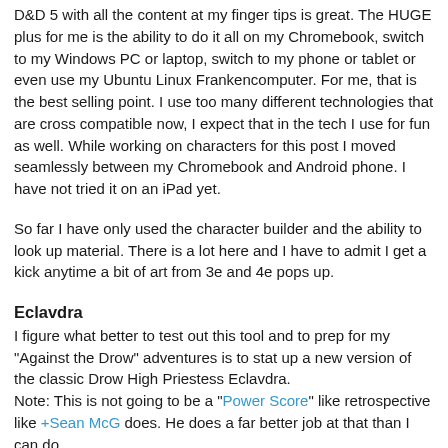D&D 5 with all the content at my finger tips is great.  The HUGE plus for me is the ability to do it all on my Chromebook, switch to my Windows PC or laptop, switch to my phone or tablet or even use my Ubuntu Linux Frankencomputer.   For me, that is the best selling point.  I use too many different technologies that are cross compatible now, I expect that in the tech I use for fun as well.  While working on characters for this post I moved seamlessly between my Chromebook and Android phone.  I have not tried it on an iPad yet.
So far I have only used the character builder and the ability to look up material.   There is a lot here and I have to admit I get a kick anytime a bit of art from 3e and 4e pops up.
Eclavdra
I figure what better to test out this tool and to prep for my "Against the Drow" adventures is to stat up a new version of the classic Drow High Priestess Eclavdra.
Note: This is not going to be a "Power Score" like retrospective like +Sean McG does.  He does a far better job at that than I can do.